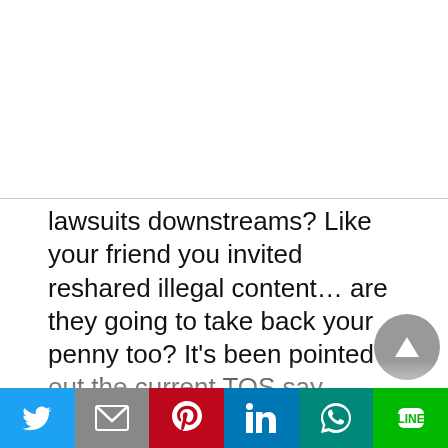lawsuits downstreams? Like your friend you invited reshared illegal content… are they going to take back your penny too? It's been pointed out the current TOS say whatever happens legally is your fault. Not sure how that will hold out, but i don't want to be sued for something someone else shared. Even if there is a chance of it. 10/26/2014 Update:
Many user have confirmed that TSU is now implementing a 5(24?) post a day limit to try and combat the obvious spam that has sprung up
[Figure (other): Social sharing bar at bottom with Twitter, Gmail, Pinterest, LinkedIn, WhatsApp, and LINE icons]